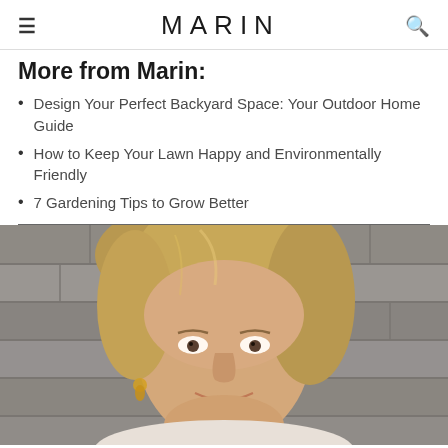≡  MARIN  🔍
More from Marin:
Design Your Perfect Backyard Space: Your Outdoor Home Guide
How to Keep Your Lawn Happy and Environmentally Friendly
7 Gardening Tips to Grow Better
[Figure (photo): Portrait photo of a smiling middle-aged woman with blonde hair, wearing gold hoop earrings, photographed against a stone wall background.]